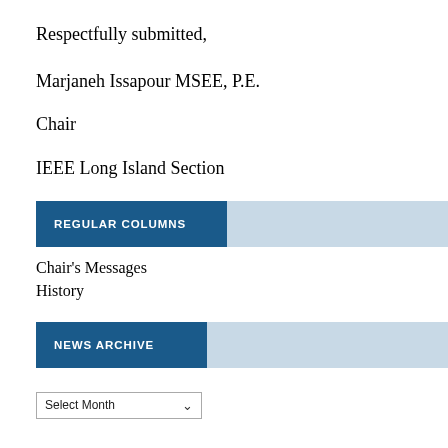Respectfully submitted,
Marjaneh Issapour MSEE, P.E.
Chair
IEEE Long Island Section
REGULAR COLUMNS
Chair's Messages
History
NEWS ARCHIVE
Select Month
IMPRESSUM